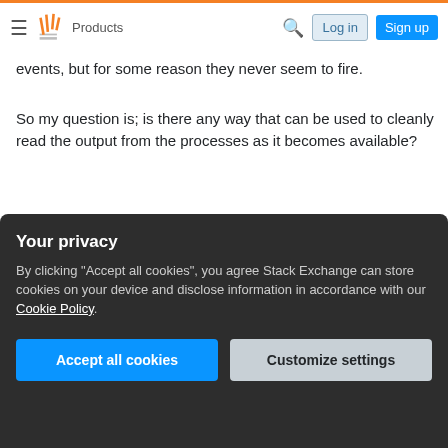Stack Overflow navigation — hamburger menu, logo, Products, search, Log in, Sign up
events, but for some reason they never seem to fire.
So my question is; is there any way that can be used to cleanly read the output from the processes as it becomes available?
The class in which the output is read:
[Figure (screenshot): Code block showing: namespace ReparatieSysteem.Lib { internal delegate void NewOutputLineEve...]
Your privacy
By clicking "Accept all cookies", you agree Stack Exchange can store cookies on your device and disclose information in accordance with our Cookie Policy.
Accept all cookies   Customize settings
[Figure (screenshot): Partially visible code line: thread = new Thread(RunThread);]